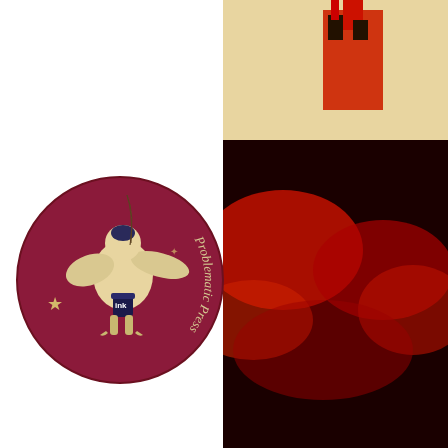[Figure (logo): Problematic Press circular logo with a griffin/eagle creature holding a quill and ink, with stars, on a dark red/maroon background]
[Figure (photo): Book cover with dark red and black tones showing a castle/fortress silhouette and the text 'DAVID' in bold white/italic letters]
Read David Reynolds' testimony to the C
Tagged absurd, academia, action
Advertisements
[Figure (logo): WordPress VIP logo - W circle icon with 'vip' text]
[Figure (other): Orange gradient advertisement banner with 'Learn more →' button in black pill shape]